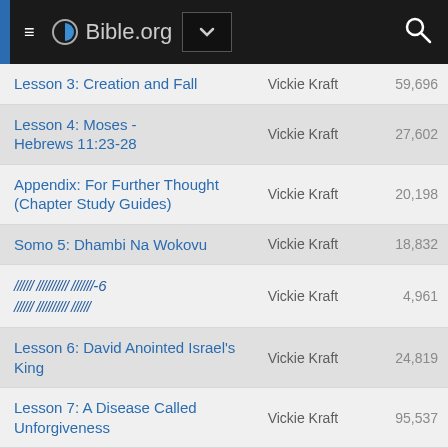Bible.org
| Title | Author | Views |
| --- | --- | --- |
| Lesson 3: Creation and Fall | Vickie Kraft | 59,696 |
| Lesson 4: Moses - Hebrews 11:23-28 | Vickie Kraft | 27,602 |
| Appendix: For Further Thought (Chapter Study Guides) | Vickie Kraft | 20,198 |
| Somo 5: Dhambi Na Wokovu | Vickie Kraft | 18,832 |
| [redacted]-6 [redacted] | Vickie Kraft | 4,961 |
| Lesson 6: David Anointed Israel's King | Vickie Kraft | 24,819 |
| Lesson 7: A Disease Called Unforgiveness | Vickie Kraft | 95,537 |